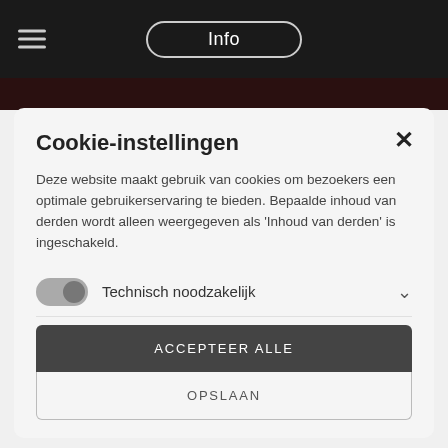Info
Cookie-instellingen
Deze website maakt gebruik van cookies om bezoekers een optimale gebruikerservaring te bieden. Bepaalde inhoud van derden wordt alleen weergegeven als 'Inhoud van derden' is ingeschakeld.
Technisch noodzakelijk
Analytisch
Inhoud van derden
ACCEPTEER ALLE
OPSLAAN